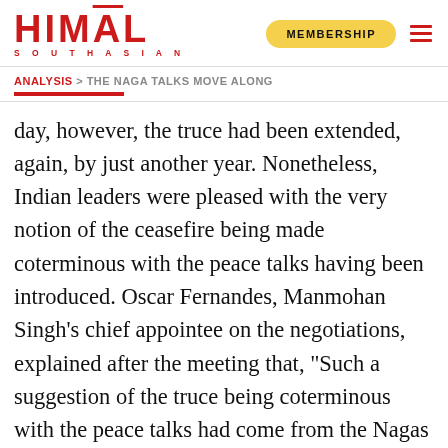HIMAL SOUTHASIAN | MEMBERSHIP
ANALYSIS > THE NAGA TALKS MOVE ALONG
day, however, the truce had been extended, again, by just another year. Nonetheless, Indian leaders were pleased with the very notion of the ceasefire being made coterminous with the peace talks having been introduced. Oscar Fernandes, Manmohan Singh’s chief appointee on the negotiations, explained after the meeting that, “Such a suggestion of the truce being coterminous with the peace talks had come from the Nagas themselves. They have now withdrawn that offer, but a one-year extension is fine with us.” Some senior NSCN-IM leaders